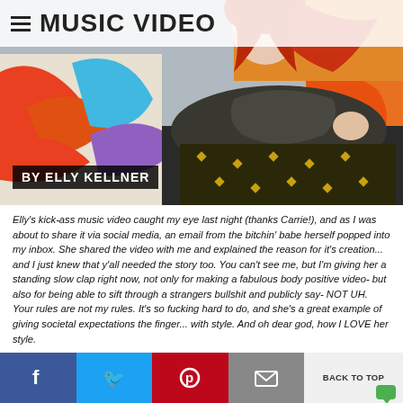MUSIC VIDEO
[Figure (photo): Woman with red hair wearing a dark patterned scarf/sweater, standing in front of colorful graffiti wall. Byline overlay reads: BY ELLY KELLNER.]
Elly's kick-ass music video caught my eye last night (thanks Carrie!), and as I was about to share it via social media, an email from the bitchin' babe herself popped into my inbox. She shared the video with me and explained the reason for it's creation... and I just knew that y'all needed the story too. You can't see me, but I'm giving her a standing slow clap right now, not only for making a fabulous body positive video- but also for being able to sift through a strangers bullshit and publicly say- NOT UH. Your rules are not my rules. It's so fucking hard to do, and she's a great example of giving societal expectations the finger... with style. And oh dear god, how I LOVE her style.
This chick is amazing, and she brings the global body love hard. Read and watch it for yourself.
BACK TO TOP | Social share buttons: Facebook, Twitter, Pinterest, Email